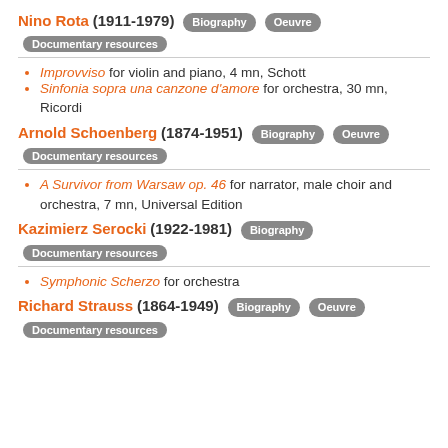Nino Rota (1911-1979) Biography Oeuvre Documentary resources
Improvviso for violin and piano, 4 mn, Schott
Sinfonia sopra una canzone d'amore for orchestra, 30 mn, Ricordi
Arnold Schoenberg (1874-1951) Biography Oeuvre Documentary resources
A Survivor from Warsaw op. 46 for narrator, male choir and orchestra, 7 mn, Universal Edition
Kazimierz Serocki (1922-1981) Biography Documentary resources
Symphonic Scherzo for orchestra
Richard Strauss (1864-1949) Biography Oeuvre Documentary resources